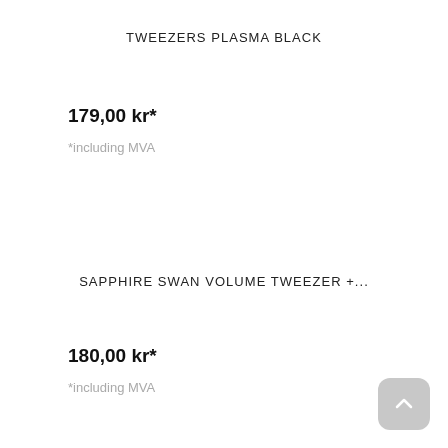TWEEZERS PLASMA BLACK
179,00 kr*
*including MVA
SAPPHIRE SWAN VOLUME TWEEZER +...
180,00 kr*
*including MVA
SAPPHIRE 45 TWEEZER + CASE
180,00 kr*
*including MVA